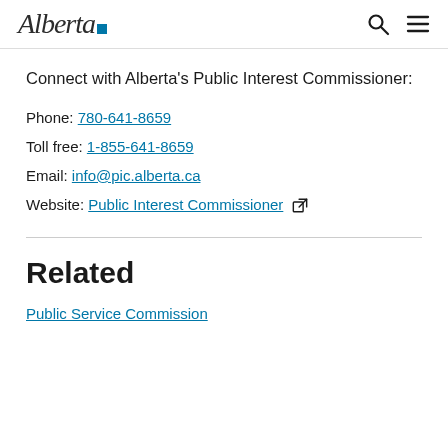Alberta (logo with blue square)
Connect with Alberta's Public Interest Commissioner:
Phone: 780-641-8659
Toll free: 1-855-641-8659
Email: info@pic.alberta.ca
Website: Public Interest Commissioner [external link]
Related
Public Service Commission